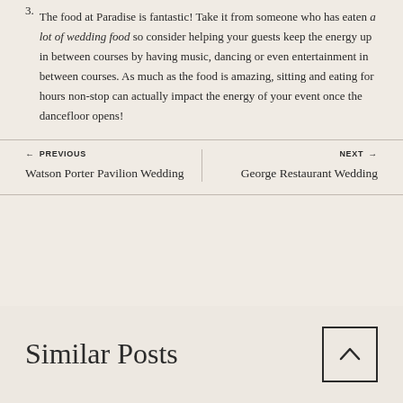3. The food at Paradise is fantastic! Take it from someone who has eaten a lot of wedding food so consider helping your guests keep the energy up in between courses by having music, dancing or even entertainment in between courses. As much as the food is amazing, sitting and eating for hours non-stop can actually impact the energy of your event once the dancefloor opens!
← PREVIOUS
Watson Porter Pavilion Wedding
NEXT →
George Restaurant Wedding
Similar Posts